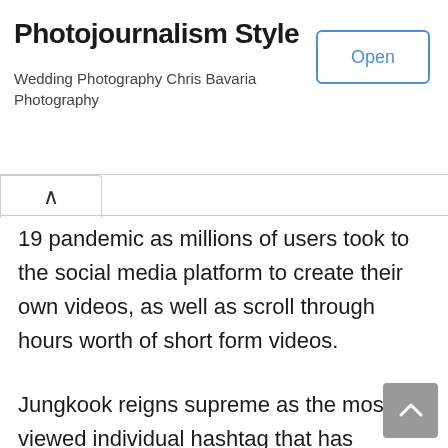Photojournalism Style
Wedding Photography Chris Bavaria Photography
19 pandemic as millions of users took to the social media platform to create their own videos, as well as scroll through hours worth of short form videos.
Jungkook reigns supreme as the most viewed individual hashtag that has collected over 92 Billion views.
[K-pop Updates]